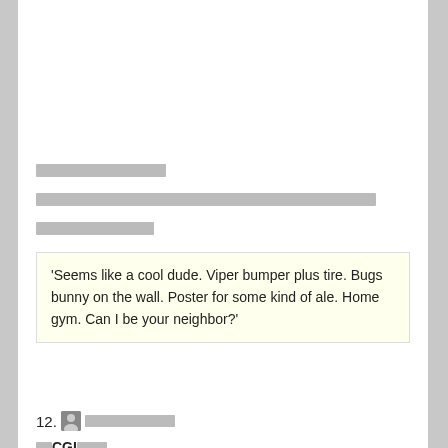□□□□□□□□□□□
□□□□□□□□□□□□□□□□□□□□□□□□□□□□□□□□□□□□□□□□□□□□□
□□□□□□□□□□
'Seems like a cool dude. Viper bumper plus tire. Bugs bunny on the wall. Poster for some kind of ale. Home gym. Can I be your neighbor?'
12. □□□□□□□□□
□□CGI□□□□